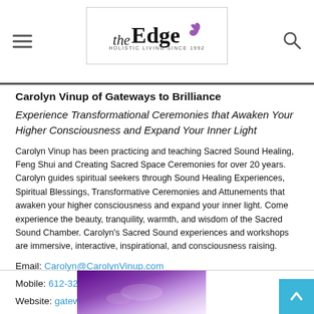the Edge — Holistic Living Since 1992
Carolyn Vinup of Gateways to Brilliance
Experience Transformational Ceremonies that Awaken Your Higher Consciousness and Expand Your Inner Light
Carolyn Vinup has been practicing and teaching Sacred Sound Healing, Feng Shui and Creating Sacred Space Ceremonies for over 20 years. Carolyn guides spiritual seekers through Sound Healing Experiences, Spiritual Blessings, Transformative Ceremonies and Attunements that awaken your higher consciousness and expand your inner light. Come experience the beauty, tranquility, warmth, and wisdom of the Sacred Sound Chamber. Carolyn's Sacred Sound experiences and workshops are immersive, interactive, inspirational, and consciousness raising.
Email: Carolyn@CarolynVinup.com
Mobile: 612-325-5162
Website: gatewaystobrilliance.com
[Figure (photo): Purple and blue abstract image at the bottom of the page]